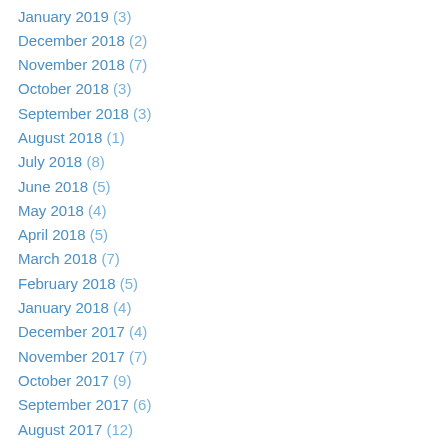January 2019 (3)
December 2018 (2)
November 2018 (7)
October 2018 (3)
September 2018 (3)
August 2018 (1)
July 2018 (8)
June 2018 (5)
May 2018 (4)
April 2018 (5)
March 2018 (7)
February 2018 (5)
January 2018 (4)
December 2017 (4)
November 2017 (7)
October 2017 (9)
September 2017 (6)
August 2017 (12)
July 2017 (5)
June 2017 (8)